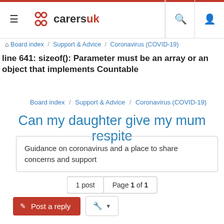CarersUK
Board index / Support & Advice / Coronavirus (COVID-19)
line 641: sizeof(): Parameter must be an array or an object that implements Countable
Board index / Support & Advice / Coronavirus (COVID-19)
Can my daughter give my mum respite
Guidance on coronavirus and a place to share concerns and support
1 post   Page 1 of 1
Post a reply